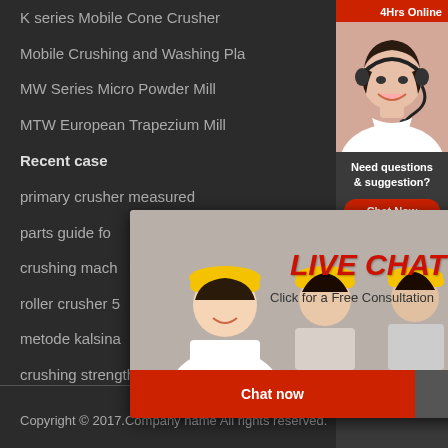K series Mobile Cone Crusher
Mobile Crushing and Washing Pla
MW Series Micro Powder Mill
MTW European Trapezium Mill
Recent case
primary crusher measured
parts guide fo
crushing mach
roller crusher 5
metode kalsina
crushing strengthing of granite
[Figure (screenshot): Live chat popup with workers in hard hats image, LIVE CHAT text in red italic, 'Click for a Free Consultation' subtitle, Chat now and Chat later buttons]
[Figure (screenshot): Right sidebar with 24Hrs Online banner, customer service agent photo, Need questions & suggestion? text, Chat Now button, Enquiry link, limingjlmofen link]
Copyright © 2017.Company name All rights reserved.